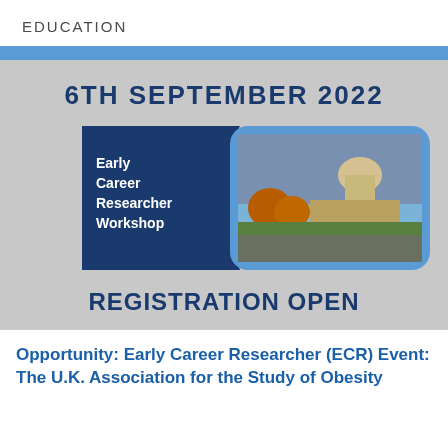EDUCATION
[Figure (illustration): Event announcement graphic for Early Career Researcher Workshop on 6th September 2022, with registration open. Shows a dark blue and light blue graphic with text and a photo of a historic building.]
Opportunity: Early Career Researcher (ECR) Event: The U.K. Association for the Study of Obesity